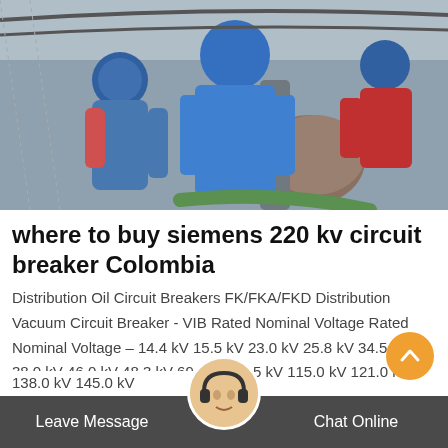[Figure (photo): Workers in blue hard hats and overalls working on electrical equipment or pipes at a substation or industrial site]
where to buy siemens 220 kv circuit breaker Colombia
Distribution Oil Circuit Breakers FK/FKA/FKD Distribution Vacuum Circuit Breaker - VIB Rated Nominal Voltage Rated Nominal Voltage – 14.4 kV 15.5 kV 23.0 kV 25.8 kV 34.5 kV 38.0 kV 46.0 kV 48.3 kV 69.0 kV 72.5 kV 115.0 kV 121.0 kV 138.0 kV 145.0 kV
Leave Message   Chat Online